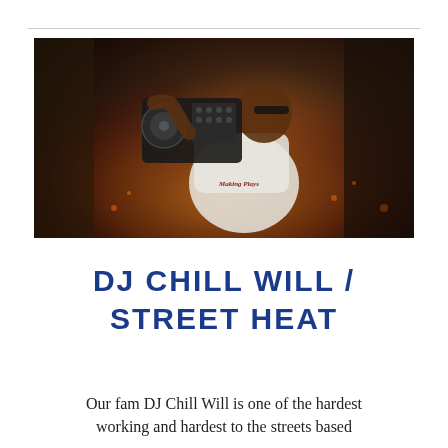[Figure (photo): A man holding a DJ controller/mixer on his shoulder, wearing a white t-shirt that reads 'Making Plays', photographed outdoors with a dark, gritty background.]
DJ CHILL WILL / STREET HEAT
Our fam DJ Chill Will is one of the hardest working and hardest to the streets based